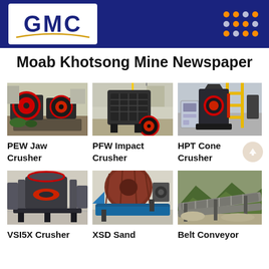[Figure (logo): GMC company logo with blue background header bar and orange dot grid pattern]
Moab Khotsong Mine Newspaper
[Figure (photo): PEW Jaw Crusher machine photo]
[Figure (photo): PFW Impact Crusher machine photo]
[Figure (photo): HPT Cone Crusher machine photo]
PEW Jaw Crusher
PFW Impact Crusher
HPT Cone Crusher
[Figure (photo): VSI5X Crusher machine photo]
[Figure (photo): XSD Sand washing machine photo]
[Figure (photo): Belt Conveyor photo]
VSI5X Crusher
XSD Sand
Belt Conveyor